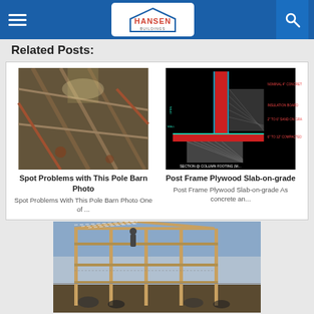Hansen Buildings
Related Posts:
[Figure (photo): Interior photo of a pole barn showing rusted steel framework, purlins and beams from below, with natural light coming through the roof]
Spot Problems with This Pole Barn Photo
Spot Problems With This Pole Barn Photo One of ...
[Figure (engineering-diagram): CAD technical drawing showing a section at column footing (M), with labeled components including concrete, foundation board, sand on grade, and compacted sub-base, on a black background]
Post Frame Plywood Slab-on-grade
Post Frame Plywood Slab-on-grade As concrete an...
[Figure (photo): Construction photo of a post frame building being built, showing wooden frame structure with workers and cattle visible below]